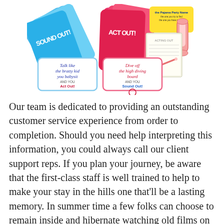[Figure (photo): A photo of a party game set showing blue and pink card decks labeled 'Sound Out' and 'Act Out', sample game cards with prompts like 'Talk like the bratty kid you babysit' and 'Dive off the high diving board', plus a timer and notepad.]
Our team is dedicated to providing an outstanding customer service experience from order to completion. Should you need help interpreting this information, you could always call our client support reps. If you plan your journey, be aware that the first-class staff is well trained to help to make your stay in the hills one that'll be a lasting memory. In summer time a few folks can choose to remain inside and hibernate watching old films on TV or renting a few movies on DVD. Decisions, that people, may or may not like, based upon what side of the fence you sit. Cheap figure skates can draw some buyers; nonetheless, when it comes to figure skates, you do get what you pay